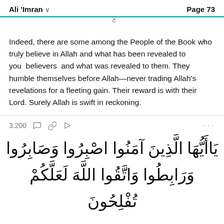Ali 'Imran  ∨    Page 73
Indeed, there are some among the People of the Book who truly believe in Allah and what has been revealed to you  believers  and what was revealed to them. They humble themselves before Allah—never trading Allah's revelations for a fleeting gain. Their reward is with their Lord. Surely Allah is swift in reckoning.
3:200
يَاأَيُّهَا الَّذِينَ آمَنُوا اصْبِرُوا وَصَابِرُوا وَرَابِطُوا وَاتَّقُوا اللَّهَ لَعَلَّكُمْ تُفْلِحُونَ